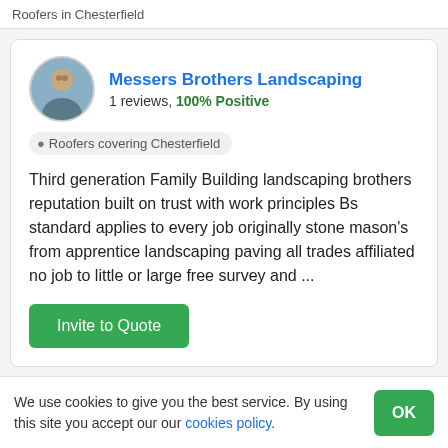Roofers in Chesterfield
Messers Brothers Landscaping
1 reviews, 100% Positive
Roofers covering Chesterfield
Third generation Family Building landscaping brothers reputation built on trust with work principles Bs standard applies to every job originally stone mason's from apprentice landscaping paving all trades affiliated no job to little or large free survey and ...
Invite to Quote
We use cookies to give you the best service. By using this site you accept our our cookies policy.